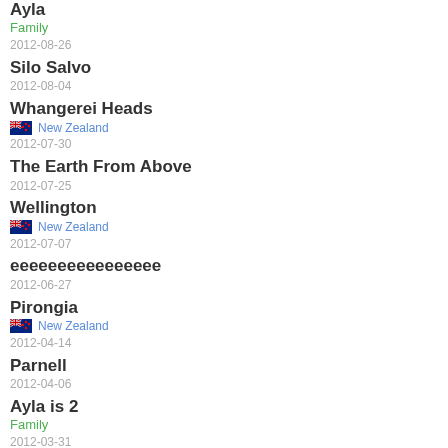Ayla
Family
2012-08-26
Silo Salvo
2012-08-04
Whangerei Heads
New Zealand
2012-07-30
The Earth From Above
2012-07-25
Wellington
New Zealand
2012-07-07
eeeeeeeeeeeeeeee
2012-06-27
Pirongia
New Zealand
2012-04-14
Parnell
2012-04-06
Ayla is 2
Family
2012-03-31